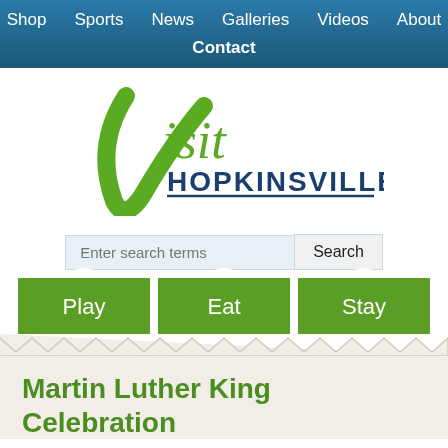Shop  Sports  News  Galleries  Videos  About  Contact
[Figure (logo): Visit Hopkinsville logo with green cursive 'Visit' and blue bold 'HOPKINSVILLE' text]
Enter search terms  Search
Play  Eat  Stay
Martin Luther King Celebration